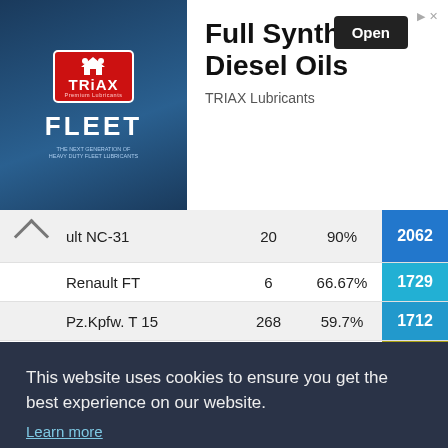[Figure (advertisement): TRIAX Premium Lubricants FLEET advertisement banner. Left side shows dark blue image with TRIAX logo and FLEET text. Right side shows 'Full Synthetic Diesel Oils' heading, 'Open' button, and 'TRIAX Lubricants' brand name.]
| Tank | Count | Win% | Score |
| --- | --- | --- | --- |
| ult NC-31 | 20 | 90% | 2062 |
| Renault FT | 6 | 66.67% | 1729 |
| Pz.Kpfw. T 15 | 268 | 59.7% | 1712 |
| Pz.Kpfw. II Ausf. D | 54 | 55.56% | 814 |
| M40/M43 | 3 | 66.67% | 1523 |
This website uses cookies to ensure you get the best experience on our website. Learn more
Got it!